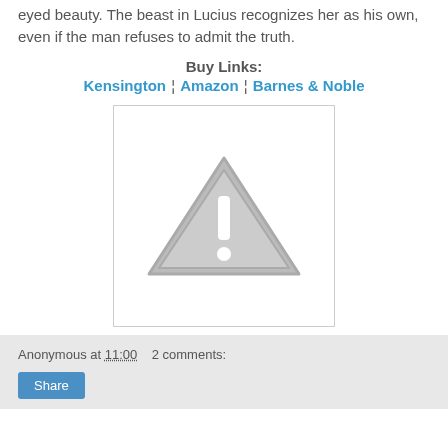eyed beauty. The beast in Lucius recognizes her as his own, even if the man refuses to admit the truth.
Buy Links:
Kensington ¦ Amazon ¦ Barnes & Noble
[Figure (other): Image placeholder with warning triangle icon indicating a missing or broken image]
Anonymous at 11:00   2 comments:
Share